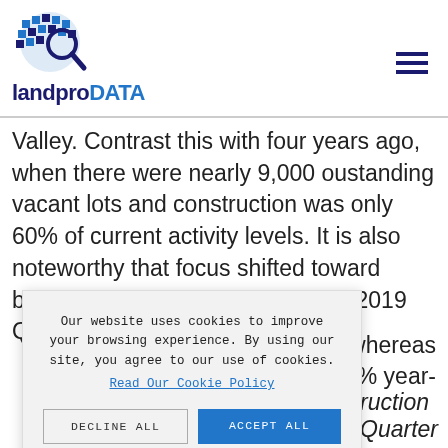landproDATA
Valley. Contrast this with four years ago, when there were nearly 9,000 oustanding vacant lots and construction was only 60% of current activity levels. It is also noteworthy that focus shifted toward building in Canyon county, where 2019 Q3 permits
whereas 7% year-
[Figure (other): Cookie consent banner overlay with text: Our website uses cookies to improve your browsing experience. By using our site, you agree to our use of cookies. Read Our Cookie Policy. Buttons: DECLINE ALL and ACCEPT ALL]
nstruction by Quarter